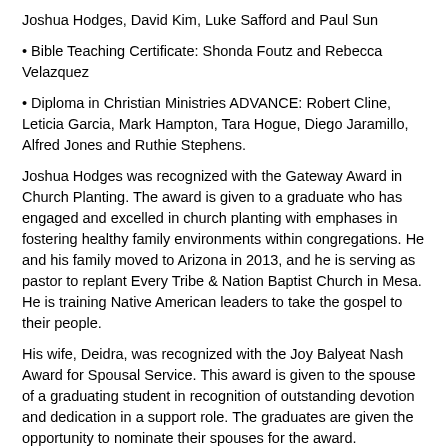Joshua Hodges, David Kim, Luke Safford and Paul Sun
Bible Teaching Certificate: Shonda Foutz and Rebecca Velazquez
Diploma in Christian Ministries ADVANCE: Robert Cline, Leticia Garcia, Mark Hampton, Tara Hogue, Diego Jaramillo, Alfred Jones and Ruthie Stephens.
Joshua Hodges was recognized with the Gateway Award in Church Planting. The award is given to a graduate who has engaged and excelled in church planting with emphases in fostering healthy family environments within congregations. He and his family moved to Arizona in 2013, and he is serving as pastor to replant Every Tribe & Nation Baptist Church in Mesa. He is training Native American leaders to take the gospel to their people.
His wife, Deidra, was recognized with the Joy Balyeat Nash Award for Spousal Service. This award is given to the spouse of a graduating student in recognition of outstanding devotion and dedication in a support role. The graduates are given the opportunity to nominate their spouses for the award.
E. La Mertha received the Dan & Harriet Stringer Award, which